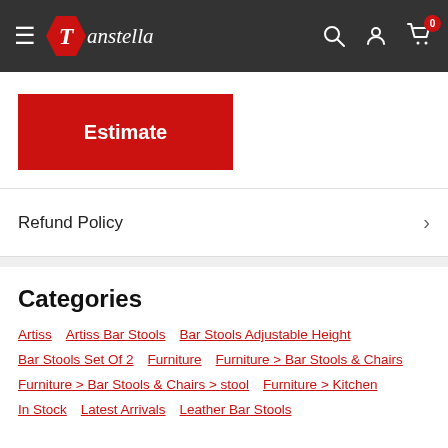Tanstella - navigation bar with hamburger menu, logo, search, account, and cart icons
Estimate
Refund Policy
Categories
Artiss
Artiss Bar Stools
Bar Stools Adjustable Height
Bar Stools Set Of 2
Furniture
Furniture > Bar Stools & Chairs
Furniture > Bar Stools & Chairs > stool
Furniture > Kitchen
In Stock
Latest Arrivals
Leather Bar Stools